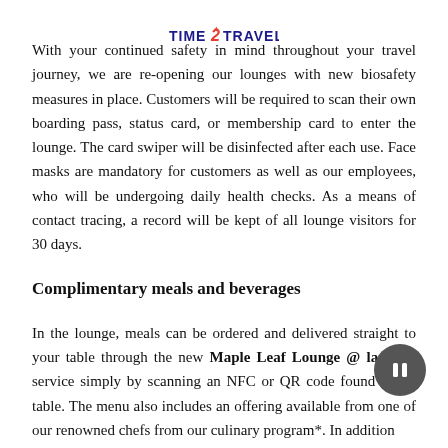[Figure (logo): TIME2TRAVEL logo with colorful 2 and bird icon]
With your continued safety in mind throughout your travel journey, we are re-opening our lounges with new biosafety measures in place. Customers will be required to scan their own boarding pass, status card, or membership card to enter the lounge. The card swiper will be disinfected after each use. Face masks are mandatory for customers as well as our employees, who will be undergoing daily health checks. As a means of contact tracing, a record will be kept of all lounge visitors for 30 days.
Complimentary meals and beverages
In the lounge, meals can be ordered and delivered straight to your table through the new Maple Leaf Lounge @ la table service simply by scanning an NFC or QR code found at the table. The menu also includes an offering available from one of our renowned chefs from our culinary program*. In addition